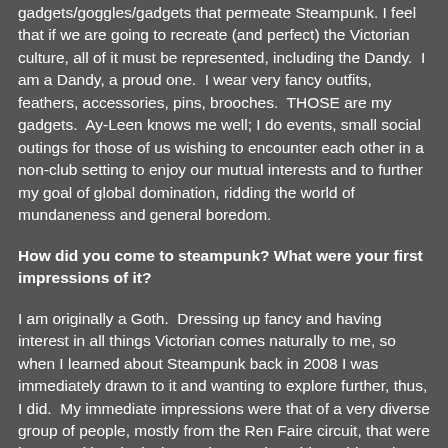gadgets/goggles/gadgets that permeate Steampunk. I feel that if we are going to recreate (and perfect) the Victorian culture, all of it must be represented, including the Dandy. I am a Dandy, a proud one. I wear very fancy outfits, feathers, accessories, pins, brooches. THOSE are my gadgets. Ay-Leen knows me well; I do events, small social outings for those of us wishing to encounter each other in a non-club setting to enjoy our mutual interests and to further my goal of global domination, ridding the world of mundaneness and general boredom.
How did you come to steampunk? What were your first impressions of it?
I am originally a Goth. Dressing up fancy and having interest in all things Victorian comes naturally to me, so when I learned about Steampunk back in 2008 I was immediately drawn to it and wanting to explore further, thus, I did. My immediate impressions were that of a very diverse group of people, mostly from the Ren Faire circuit, that were immersed in roleplaying and general nerddom, things that weren't necessarily my strongest suits, thus, I was in some ways coming into the Steampunk genre a bit, well, green.